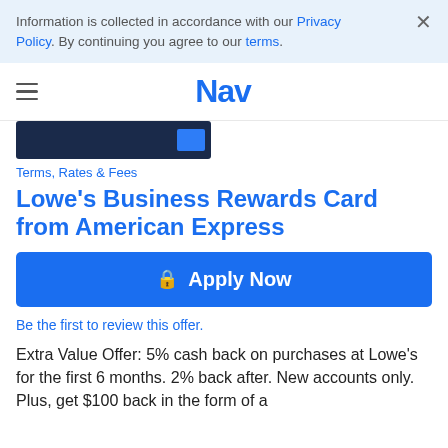Information is collected in accordance with our Privacy Policy. By continuing you agree to our terms.
Nav
[Figure (photo): Partial image of Lowe's Business Rewards Card from American Express (dark navy card with blue stripe on right)]
Terms, Rates & Fees
Lowe's Business Rewards Card from American Express
Apply Now
Be the first to review this offer.
Extra Value Offer: 5% cash back on purchases at Lowe's for the first 6 months. 2% back after. New accounts only. Plus, get $100 back in the form of a